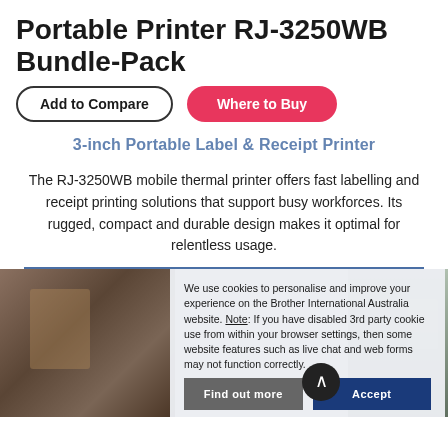Portable Printer RJ-3250WB Bundle-Pack
Add to Compare | Where to Buy
3-inch Portable Label & Receipt Printer
The RJ-3250WB mobile thermal printer offers fast labelling and receipt printing solutions that support busy workforces. Its rugged, compact and durable design makes it optimal for relentless usage.
[Figure (photo): Warehouse shelves with boxes on the left, and a worker in a yellow vest on the right, partially visible behind a cookie consent overlay dialog.]
We use cookies to personalise and improve your experience on the Brother International Australia website. Note: If you have disabled 3rd party cookie use from within your browser settings, then some website features such as live chat and web forms may not function correctly.